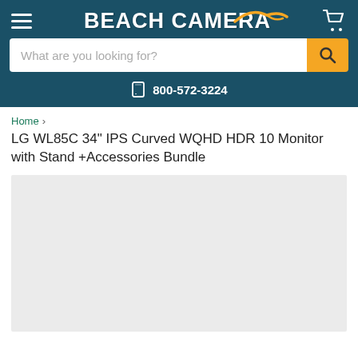Beach Camera — 800-572-3224
What are you looking for?
Home > LG WL85C 34" IPS Curved WQHD HDR 10 Monitor with Stand +Accessories Bundle
LG WL85C 34" IPS Curved WQHD HDR 10 Monitor with Stand +Accessories Bundle
[Figure (photo): Product image placeholder area (light gray background)]